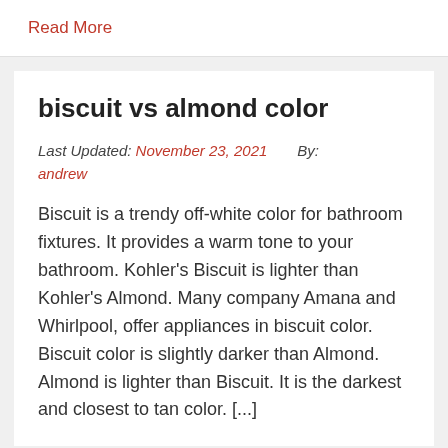Read More
biscuit vs almond color
Last Updated: November 23, 2021   By: andrew
Biscuit is a trendy off-white color for bathroom fixtures. It provides a warm tone to your bathroom. Kohler's Biscuit is lighter than Kohler's Almond. Many company Amana and Whirlpool, offer appliances in biscuit color. Biscuit color is slightly darker than Almond. Almond is lighter than Biscuit. It is the darkest and closest to tan color. [...]